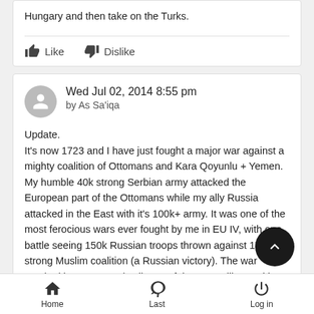Hungary and then take on the Turks.
Like  Dislike
Wed Jul 02, 2014 8:55 pm
by As Sa'iqa
Update.
It's now 1723 and I have just fought a major war against a mighty coalition of Ottomans and Kara Qoyunlu + Yemen. My humble 40k strong Serbian army attacked the European part of the Ottomans while my ally Russia attacked in the East with it's 100k+ army. It was one of the most ferocious wars ever fought by me in EU IV, with one battle seeing 150k Russian troops thrown against 170k strong Muslim coalition (a Russian victory). The war resulted in a near total collapse of the Otto military, with the empire having to cede most of their European
Home  Last  Log in